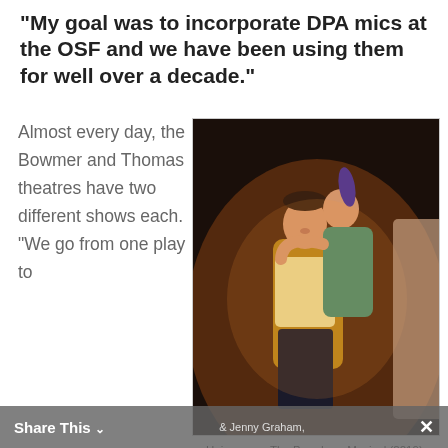“My goal was to incorporate DPA mics at the OSF and we have been using them for well over a decade.”
Almost every day, the Bowmer and Thomas theatres have two different shows each. “We go from one play to
[Figure (photo): Two performers on stage, one male carrying a female on his back, both smiling, lit with warm stage lighting against a dark background.]
Hairspray —The Broadway Musical (2019): Madeline Day, Matthew [Rosenbaum?]. Photo: Jenny Graham,
Share This